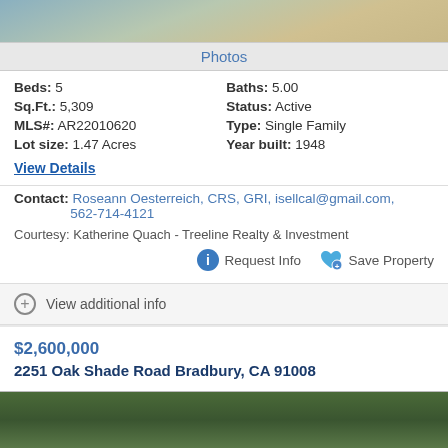[Figure (photo): Aerial or outdoor photo of property, partially visible at top]
Photos
Beds: 5   Baths: 5.00
Sq.Ft.: 5,309   Status: Active
MLS#: AR22010620   Type: Single Family
Lot size: 1.47 Acres   Year built: 1948
View Details
Contact: Roseann Oesterreich, CRS, GRI, isellcal@gmail.com, 562-714-4121
Courtesy: Katherine Quach - Treeline Realty & Investment
Request Info   Save Property
View additional info
$2,600,000
2251 Oak Shade Road Bradbury, CA 91008
[Figure (photo): Aerial photo of property with trees, partially visible at bottom]